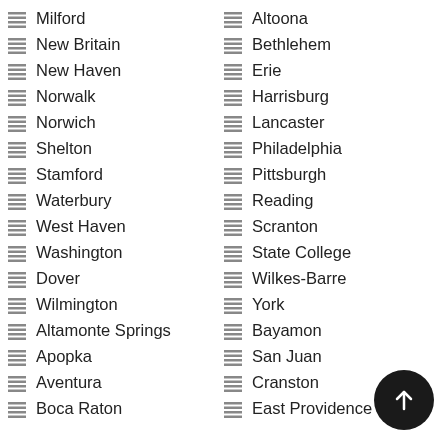Milford
New Britain
New Haven
Norwalk
Norwich
Shelton
Stamford
Waterbury
West Haven
Washington
Dover
Wilmington
Altamonte Springs
Apopka
Aventura
Boca Raton
Altoona
Bethlehem
Erie
Harrisburg
Lancaster
Philadelphia
Pittsburgh
Reading
Scranton
State College
Wilkes-Barre
York
Bayamon
San Juan
Cranston
East Providence